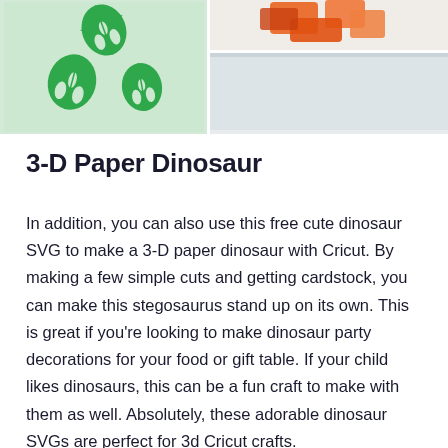[Figure (photo): Two-column image grid: left side shows green monstera leaf cutouts on light green background; top right shows orange paper/craft pieces; bottom right shows plain light grey/blue surface]
3-D Paper Dinosaur
In addition, you can also use this free cute dinosaur SVG to make a 3-D paper dinosaur with Cricut. By making a few simple cuts and getting cardstock, you can make this stegosaurus stand up on its own. This is great if you're looking to make dinosaur party decorations for your food or gift table. If your child likes dinosaurs, this can be a fun craft to make with them as well. Absolutely, these adorable dinosaur SVGs are perfect for 3d Cricut crafts.